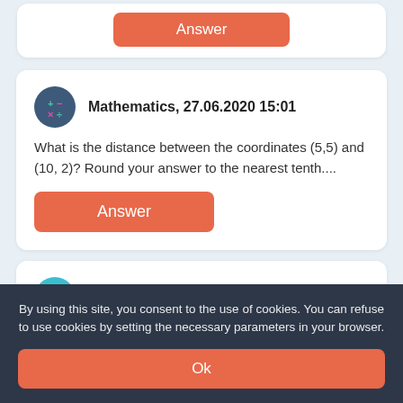[Figure (other): Partial card from previous question with orange Answer button visible at top]
Mathematics, 27.06.2020 15:01
What is the distance between the coordinates (5,5) and (10, 2)? Round your answer to the nearest tenth....
Answer
Chemistry, 27.06.2020 15:01
Quick answer plzAn oxide was prepared by combining 15.3g of an element “X” with 13.6g of oxygen. What is the simplest formula for the
By using this site, you consent to the use of cookies. You can refuse to use cookies by setting the necessary parameters in your browser.
Ok